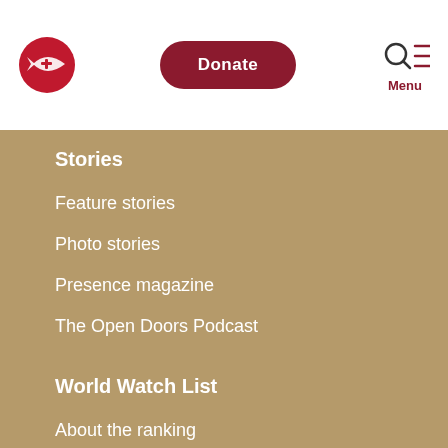[Figure (logo): Open Doors fish logo in red with white cross/fish symbol]
Donate
Stories
Feature stories
Photo stories
Presence magazine
The Open Doors Podcast
World Watch List
About the ranking
World Watch List FAQ
Donate
Where needed most
Monthly giving